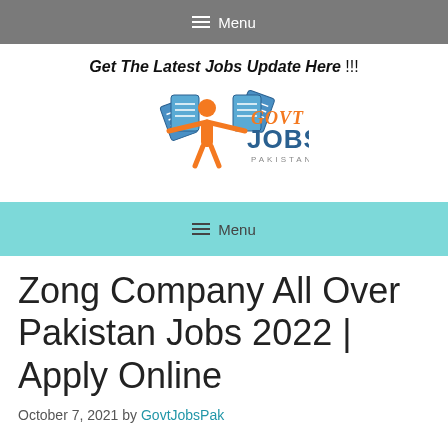≡  Menu
Get The Latest Jobs Update Here !!!
[Figure (logo): Govt Jobs Pakistan logo: orange stick figure holding blue document fans, with 'GOVT JOBS PAKISTAN' text in orange and blue]
≡  Menu
Zong Company All Over Pakistan Jobs 2022 | Apply Online
October 7, 2021 by GovtJobsPak